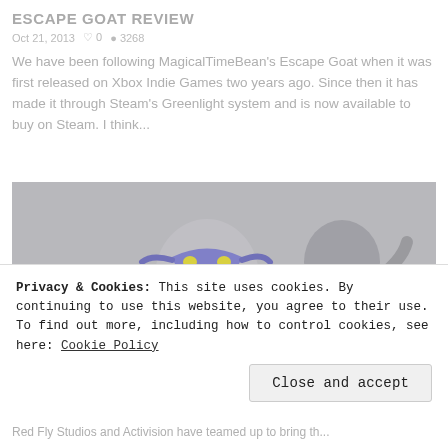ESCAPE GOAT REVIEW
Oct 21, 2013  0  3268
We have been following MagicalTimeBean's Escape Goat when it was first released on Xbox Indie Games two years ago. Since then it has made it through Steam's Greenlight system and is now available to buy on Steam. I think...
[Figure (illustration): Illustrated characters: a figure wearing a purple ninja turtle-style mask smiling, and a second figure in the background]
Privacy & Cookies: This site uses cookies. By continuing to use this website, you agree to their use.
To find out more, including how to control cookies, see here: Cookie Policy
Close and accept
Red Fly Studios and Activision have teamed up to bring the